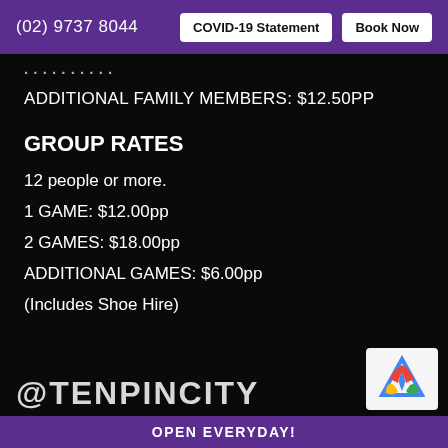(02) 9737 8044  COVID-19 Statement  Book Now
ADDITIONAL FAMILY MEMBERS: $12.50pp
GROUP RATES
12 people or more.
1 GAME: $12.00pp
2 GAMES: $18.00pp
ADDITIONAL GAMES: $6.00pp
(Includes Shoe Hire)
@TENPINCITY
OPEN EVERYDAY!